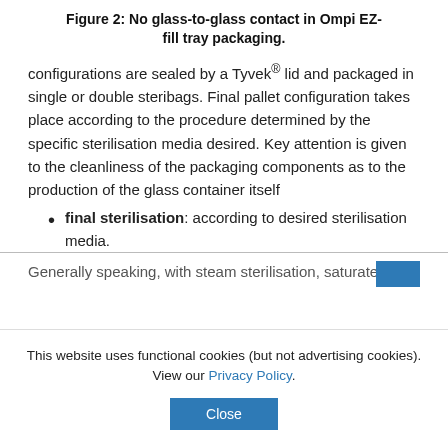Figure 2: No glass-to-glass contact in Ompi EZ-fill tray packaging.
configurations are sealed by a Tyvek® lid and packaged in single or double steribags. Final pallet configuration takes place according to the procedure determined by the specific sterilisation media desired. Key attention is given to the cleanliness of the packaging components as to the production of the glass container itself
final sterilisation: according to desired sterilisation media.
Generally speaking, with steam sterilisation, saturated
This website uses functional cookies (but not advertising cookies). View our Privacy Policy.
Close